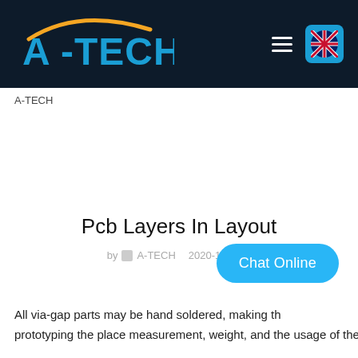[Figure (logo): A-TECH company logo with blue letters and orange arc on dark navy background, with hamburger menu and UK flag button on the right]
A-TECH
Pcb Layers In Layout
by A-TECH   2020-10-09
All via-gap parts may be hand soldered, making th prototyping the place measurement, weight, and the usage of the